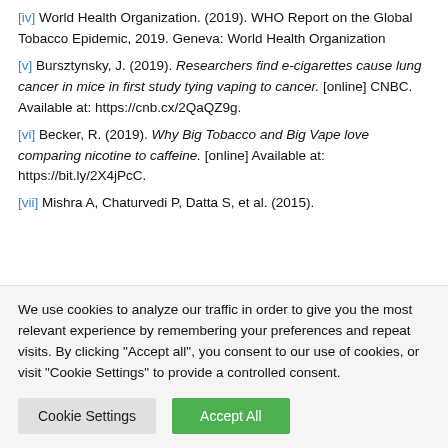[iv] World Health Organization. (2019). WHO Report on the Global Tobacco Epidemic, 2019. Geneva: World Health Organization
[v] Bursztynsky, J. (2019). Researchers find e-cigarettes cause lung cancer in mice in first study tying vaping to cancer. [online] CNBC. Available at: https://cnb.cx/2QaQZ9g.
[vi] Becker, R. (2019). Why Big Tobacco and Big Vape love comparing nicotine to caffeine. [online] Available at: https://bit.ly/2X4jPcC.
[vii] Mishra A, Chaturvedi P, Datta S, et al. (2015).
We use cookies to analyze our traffic in order to give you the most relevant experience by remembering your preferences and repeat visits. By clicking "Accept all", you consent to our use of cookies, or visit "Cookie Settings" to provide a controlled consent.